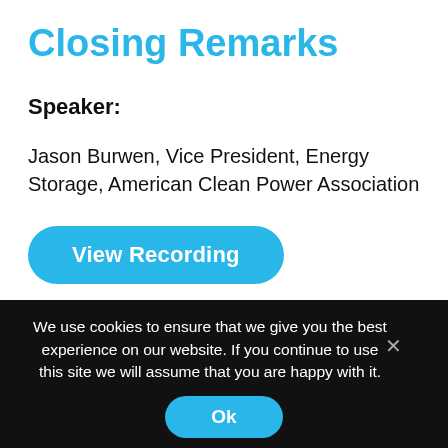Closing Remarks
Speaker:
Jason Burwen, Vice President, Energy Storage, American Clean Power Association
[Figure (other): Blue rounded button labeled 'View Recording']
We use cookies to ensure that we give you the best experience on our website. If you continue to use this site we will assume that you are happy with it.
[Figure (other): Blue rounded button labeled 'Ok']